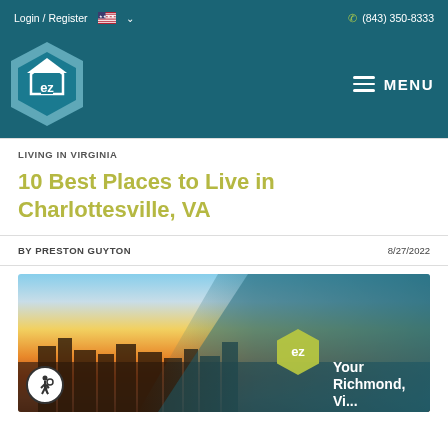Login / Register  (843) 350-8333
[Figure (logo): EZ Home Search hexagon logo in teal with 'ez' text and MENU hamburger icon]
LIVING IN VIRGINIA
10 Best Places to Live in Charlottesville, VA
BY PRESTON GUYTON    8/27/2022
[Figure (photo): City skyline at sunset with orange and yellow sky, buildings silhouetted. Overlay shows EZ logo with 'Your Richmond, ...' text. Accessibility icon in bottom left.]